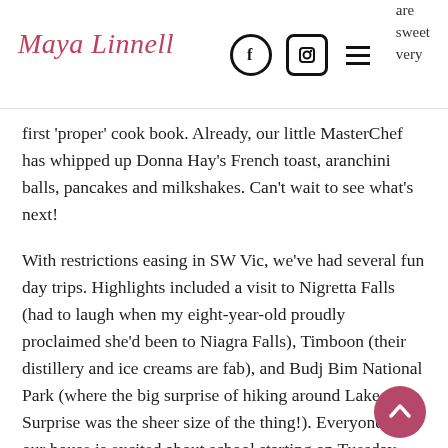Maya Linnell — with social icons and navigation. Partial text visible: 'are sweet very'
first 'proper' cook book. Already, our little MasterChef has whipped up Donna Hay's French toast, aranchini balls, pancakes and milkshakes. Can't wait to see what's next!
With restrictions easing in SW Vic, we've had several fun day trips. Highlights included a visit to Nigretta Falls (had to laugh when my eight-year-old proudly proclaimed she'd been to Niagra Falls), Timboon (their distillery and ice creams are fab), and Budj Bim National Park (where the big surprise of hiking around Lake Surprise was the sheer size of the thing!). Everyone in our house is excited about school starting on Tuesday. Fingers crossed we manage more than a